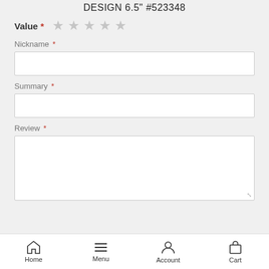DESIGN 6.5" #523348
Value *
Nickname *
Summary *
Review *
Home  Menu  Account  Cart